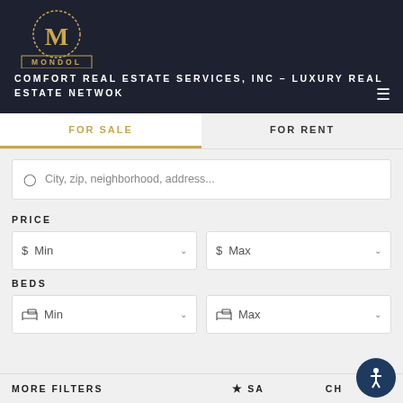[Figure (logo): Mondol Real Estate Group logo - gold M emblem with MONDOL text]
COMFORT REAL ESTATE SERVICES, INC – LUXURY REAL ESTATE NETWOK
FOR SALE
FOR RENT
City, zip, neighborhood, address...
PRICE
$ Min
$ Max
BEDS
Min
Max
MORE FILTERS
SAVE SEARCH